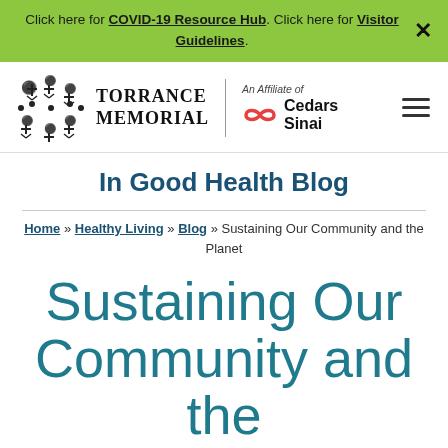Click here for COVID-19 Resource Hub. Click here for Visitor Guidelines.
[Figure (logo): Torrance Memorial Medical Center logo with affiliated Cedars-Sinai logo]
In Good Health Blog
Home » Healthy Living » Blog » Sustaining Our Community and the Planet
Sustaining Our Community and the Planet